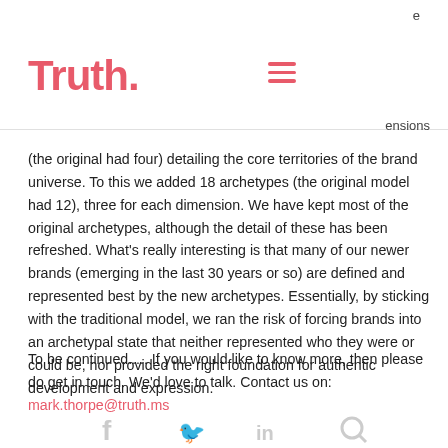Truth.
ensions (the original had four) detailing the core territories of the brand universe.  To this we added 18 archetypes (the original model had 12), three for each dimension.  We have kept most of the original archetypes, although the detail of these has been refreshed.  What's really interesting is that many of our newer brands (emerging in the last 30 years or so) are defined and represented best by the new archetypes.  Essentially, by sticking with the traditional model, we ran the risk of forcing brands into an archetypal state that neither represented who they were or could be, nor provided the right foundation for authentic development and expression.
To be continued.....  If you would like to know more, then please do get in touch.  We'd love to talk. Contact us on: mark.thorpe@truth.ms